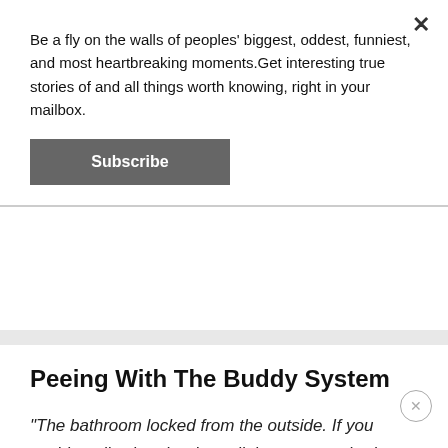Be a fly on the walls of peoples' biggest, oddest, funniest, and most heartbreaking moments.Get interesting true stories of and all things worth knowing, right in your mailbox.
Subscribe
Peeing With The Buddy System
"The bathroom locked from the outside. If you accidentally shut the door all the way, you had to have someone in the room open the door for you when you were done. If you were by